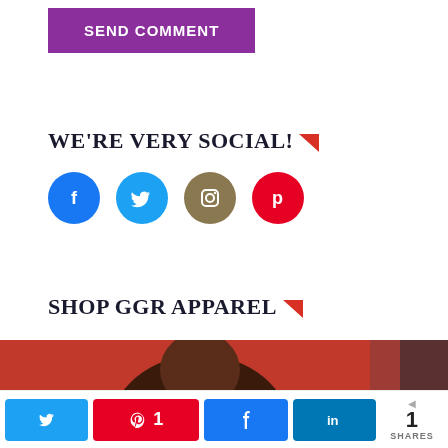[Figure (other): Purple 'SEND COMMENT' button]
WE'RE VERY SOCIAL!
[Figure (other): Social media icons: Facebook (blue), Twitter (light blue), Instagram (olive/gold), Pinterest (red)]
SHOP GGR APPAREL
[Figure (photo): Photo of a person with curly hair against a red/dark background]
[Figure (other): Share bar with Twitter, Pinterest (1), Facebook, LinkedIn buttons and share count of 1 SHARES]